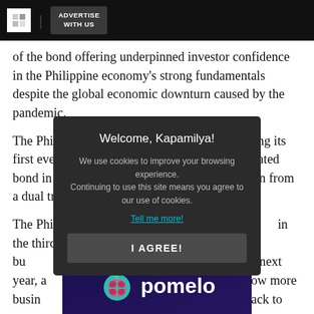ADVERTISE WITH US
of the bond offering underpinned investor confidence in the Philippine economy's strong fundamentals despite the global economic downturn caused by the pandemic.
The Philippines raised 1.2 billion euros by selling its first ever zero coupon three-year euro-denominated bond in January, and raised another $2.35 billion from a dual tranche U.S.
The Philippines [partially obscured] in the third quarter, bu[t] [obscured] ounce back next year, a[nd] [obscured] rbs to allow more busin[esses] [obscured] le to get back to wo[rk]
[Figure (screenshot): Cookie consent modal dialog with dark background. Title: 'Welcome, Kapamilya!'. Body text: 'We use cookies to improve your browsing experience. Continuing to use this site means you agree to our use of cookies.' Link: 'Tell me more!' Button: 'I AGREE!']
[Figure (logo): Pomelo brand logo on dark purple/navy background with teal fruit icon and pink flower pattern inside, followed by the word 'pomelo' in white bold text.]